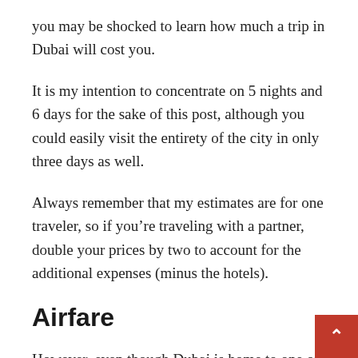you may be shocked to learn how much a trip in Dubai will cost you.
It is my intention to concentrate on 5 nights and 6 days for the sake of this post, although you could easily visit the entirety of the city in only three days as well.
Always remember that my estimates are for one traveler, so if you’re traveling with a partner, double your prices by two to account for the additional expenses (minus the hotels).
Airfare
However, even though Dubai is home to one of the busiest airports in the world, flights to